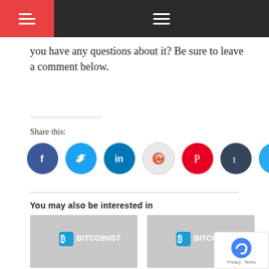Navigation header with hamburger menus
you have any questions about it? Be sure to leave a comment below.
Share this:
[Figure (infographic): Social share buttons: Facebook, Twitter, LinkedIn, Reddit, Pinterest, Tumblr, Telegram]
You may also be interested in
[Figure (photo): Bitcoinist logo placeholder image for article: Influencers Intentionally Loot Millions From Crypto Community In…]
Influencers Intentionally Loot Millions From Crypto Community In…
[Figure (photo): Bitcoinist logo placeholder image for article: Adyingnobody Promises To Reveal The Crypto Industry's Biggest & Most…]
Adyingnobody Promises To Reveal The Crypto Industry's Biggest & Most…